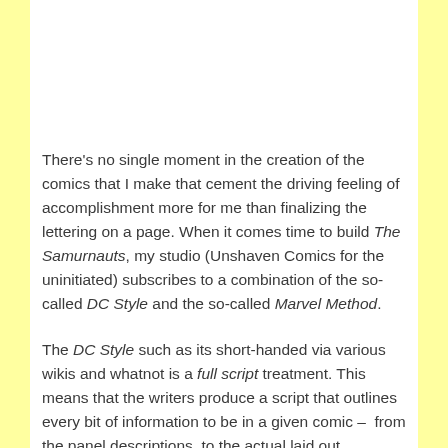There's no single moment in the creation of the comics that I make that cement the driving feeling of accomplishment more for me than finalizing the lettering on a page. When it comes time to build The Samurnauts, my studio (Unshaven Comics for the uninitiated) subscribes to a combination of the so-called DC Style and the so-called Marvel Method.
The DC Style such as its short-handed via various wikis and whatnot is a full script treatment. This means that the writers produce a script that outlines every bit of information to be in a given comic – from the panel descriptions, to the actual laid out dialogue, caption boxes, and onomatopoeia.
The Marvel Method is...